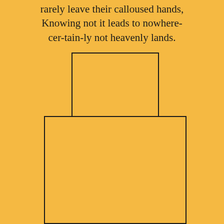rarely leave their calloused hands, Knowing not it leads to nowhere- cer-tain-ly not heavenly lands.
[Figure (illustration): A small rectangle outline (empty box) on a golden/amber background, positioned in the upper-center of the page.]
[Figure (illustration): A larger rectangle outline (empty box) on a golden/amber background, positioned in the lower-center of the page, partially cut off at the bottom.]